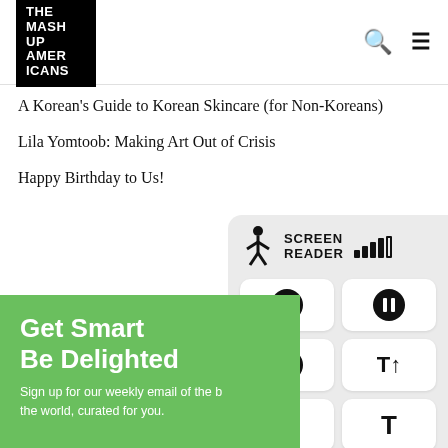[Figure (logo): THE MASH UP AMERICANS logo — white text on black background square]
A Korean's Guide to Korean Skincare (for Non-Koreans)
Lila Yomtoob: Making Art Out of Crisis
Happy Birthday to Us!
[Figure (screenshot): Screen Reader widget panel with accessibility figure icon, signal bars, and playback/text-size control buttons]
Get Smart
Be Delighted
Sign up for our weekly email of the best things in the world, curated for you.